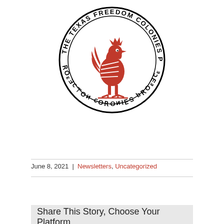[Figure (logo): The Texas Freedom Colonies Project circular logo with a red bird (rooster) in the center, text 'THE TEXAS FREEDOM COLONIES PROJECT' around the top and 'PROJECT COLONIES' mirrored at the bottom in a circular seal design, black and red.]
June 8, 2021 | Newsletters, Uncategorized
Share This Story, Choose Your Platform...